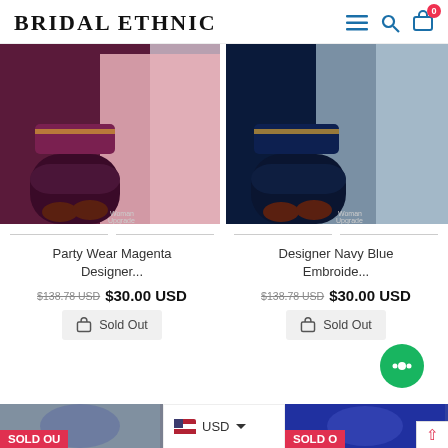Bridal Ethnic
[Figure (photo): Product photo of Party Wear Magenta Designer salwar suit with pink dupatta, showing lower half of outfit on model]
[Figure (photo): Product photo of Designer Navy Blue Embroidered salwar suit with light blue dupatta, showing lower half of outfit on model]
Party Wear Magenta Designer...
$138.78 USD  $30.00 USD
Sold Out
Designer Navy Blue Embroide...
$138.78 USD  $30.00 USD
Sold Out
[Figure (photo): Partial bottom product image left - SOLD OUT overlay]
[Figure (photo): Partial bottom product image right - SOLD OUT overlay]